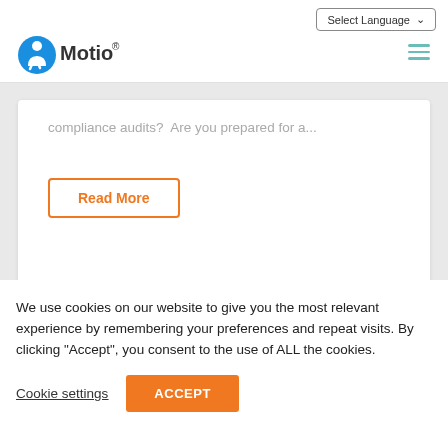Select Language | Motio logo | Menu
compliance audits?  Are you prepared for a...
Read More
Motio  |  Aug 9, 2022  |  0
We use cookies on our website to give you the most relevant experience by remembering your preferences and repeat visits. By clicking “Accept”, you consent to the use of ALL the cookies.
Cookie settings
ACCEPT